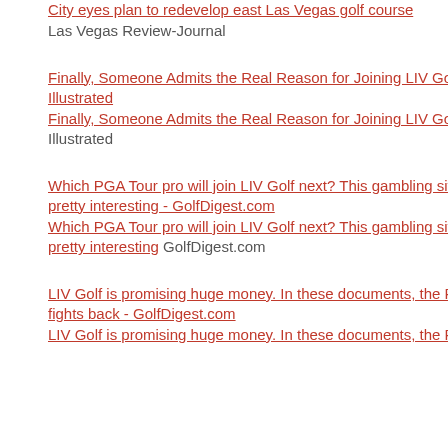City eyes plan to redevelop east Las Vegas golf course  Las Vegas Review-Journal
Finally, Someone Admits the Real Reason for Joining LIV Golf - Sports Illustrated
Finally, Someone Admits the Real Reason for Joining LIV Golf  Sports Illustrated
Which PGA Tour pro will join LIV Golf next? This gambling site's odds are pretty interesting - GolfDigest.com
Which PGA Tour pro will join LIV Golf next? This gambling site's odds are pretty interesting  GolfDigest.com
LIV Golf is promising huge money. In these documents, the PGA Tour fights back - GolfDigest.com
LIV Golf is promising huge money. In these documents, the PGA Tour